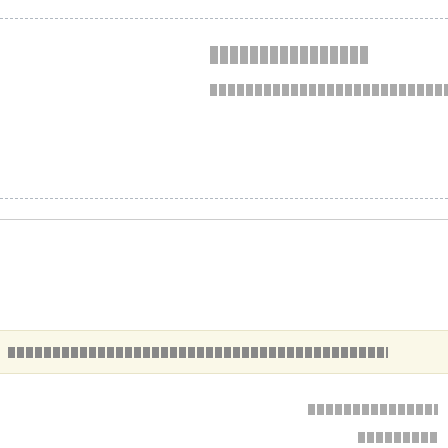[redacted title text]
[redacted subtitle/question text]
[redacted highlighted bar text]
[redacted footer line 1]
[redacted footer line 2]